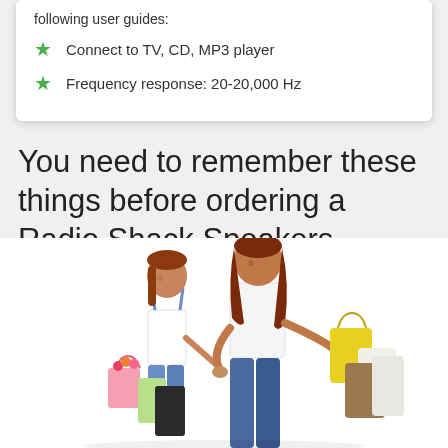following user guides:
Connect to TV, CD, MP3 player
Frequency response: 20-20,000 Hz
You need to remember these things before ordering a Radio Shack Speakers
[Figure (photo): A woman with long red hair wearing a white top and jeans, holding hands with a young red-haired girl in suspenders and jeans. Both are carrying multiple colorful shopping bags. The woman carries yellow and other bags; the girl carries pink, green, and dark bags.]